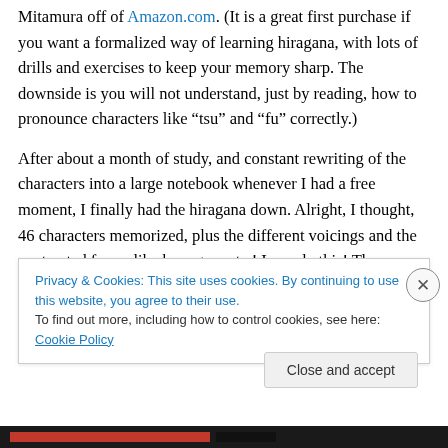Mitamura off of Amazon.com. (It is a great first purchase if you want a formalized way of learning hiragana, with lots of drills and exercises to keep your memory sharp. The downside is you will not understand, just by reading, how to pronounce characters like “tsu” and “fu” correctly.)
After about a month of study, and constant rewriting of the characters into a large notebook whenever I had a free moment, I finally had the hiragana down. Alright, I thought, 46 characters memorized, plus the different voicings and the contracted forms like kyo, gyu, etc.! I can do this! Then
Privacy & Cookies: This site uses cookies. By continuing to use this website, you agree to their use.
To find out more, including how to control cookies, see here: Cookie Policy